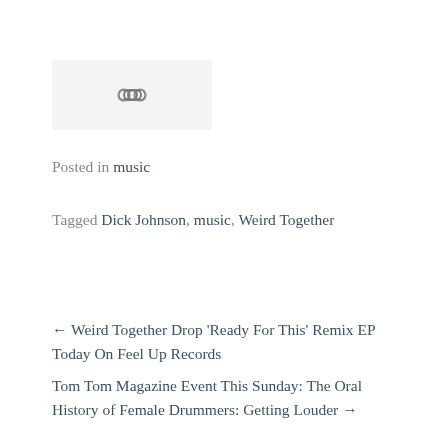[Figure (other): Share/link icon (chain link symbol) inside a light gray rounded rectangle]
Posted in music
Tagged Dick Johnson, music, Weird Together
← Weird Together Drop ‘Ready For This’ Remix EP Today On Feel Up Records
Tom Tom Magazine Event This Sunday: The Oral History of Female Drummers: Getting Louder →